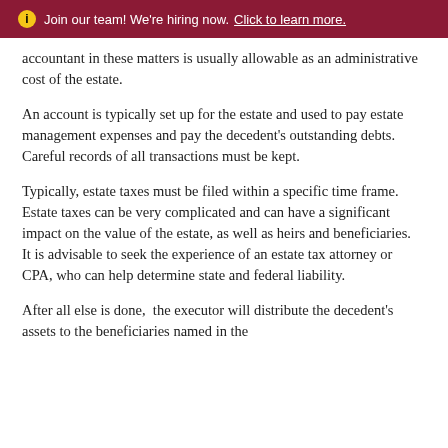Join our team! We're hiring now. Click to learn more.
accountant in these matters is usually allowable as an administrative cost of the estate.
An account is typically set up for the estate and used to pay estate management expenses and pay the decedent's outstanding debts. Careful records of all transactions must be kept.
Typically, estate taxes must be filed within a specific time frame. Estate taxes can be very complicated and can have a significant impact on the value of the estate, as well as heirs and beneficiaries.   It is advisable to seek the experience of an estate tax attorney or CPA, who can help determine state and federal liability.
After all else is done,  the executor will distribute the decedent's assets to the beneficiaries named in the